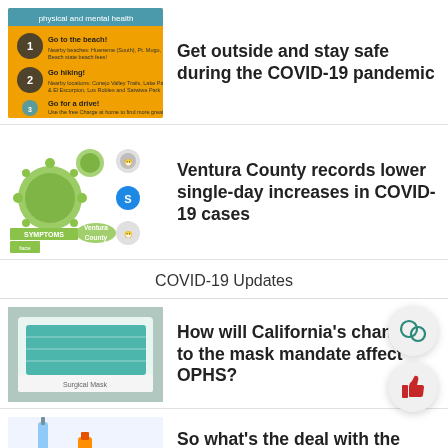[Figure (infographic): Orange infographic about physical and mental health activities (go to the beach, go hiking, go for a drive) with numbered icons on a teal/orange background]
Get outside and stay safe during the COVID-19 pandemic
[Figure (infographic): COVID-19 symptoms infographic showing virus icons, symptom icons (fever, cough, mask), and Ventura County branding on green background]
Ventura County records lower single-day increases in COVID-19 cases
COVID-19 Updates
[Figure (photo): Photo of a box of teal/green surgical masks with packaging visible]
How will California’s changes to the mask mandate affect OPHS?
[Figure (photo): Photo of a medical syringe/vaccine vial illustration in blue and orange]
So what’s the deal with the vaccine requirements?